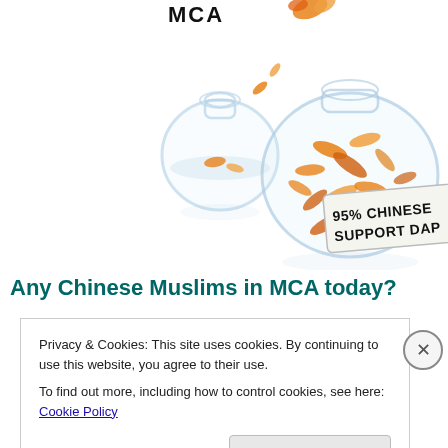[Figure (illustration): Illustration showing two fishbowls: a small nearly-empty one on the left labeled 'MCA' with a few fish falling out, and a large one on the right packed full of goldfish with a label reading '95% CHINESE SUPPORT DAP'.]
Any Chinese Muslims in MCA today?
Privacy & Cookies: This site uses cookies. By continuing to use this website, you agree to their use.
To find out more, including how to control cookies, see here: Cookie Policy